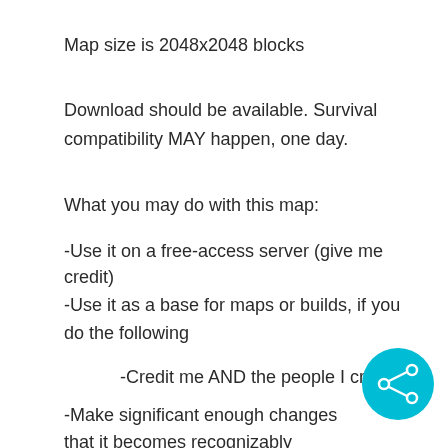Map size is 2048x2048 blocks
Download should be available. Survival compatibility MAY happen, one day.
What you may do with this map:
-Use it on a free-access server (give me credit)
-Use it as a base for maps or builds, if you do the following
-Credit me AND the people I credit.
-Make significant enough changes that it becomes recognizably different from this project
[Figure (other): Teal/cyan circular share button icon in the bottom-right corner]